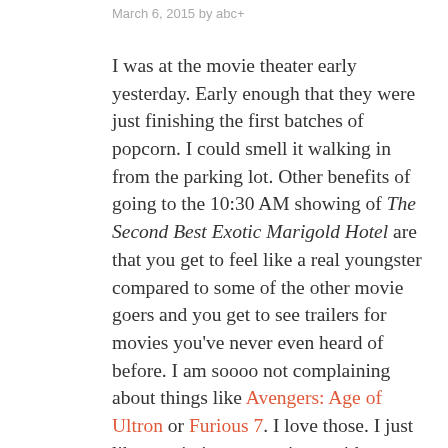March 6, 2015 by abc+
I was at the movie theater early yesterday. Early enough that they were just finishing the first batches of popcorn. I could smell it walking in from the parking lot. Other benefits of going to the 10:30 AM showing of The Second Best Exotic Marigold Hotel are that you get to feel like a real youngster compared to some of the other movie goers and you get to see trailers for movies you've never even heard of before. I am soooo not complaining about things like Avengers: Age of Ultron or Furious 7. I love those. I just like to mix it up sometimes with something like the new Cameron Crowe movie, Aloha.